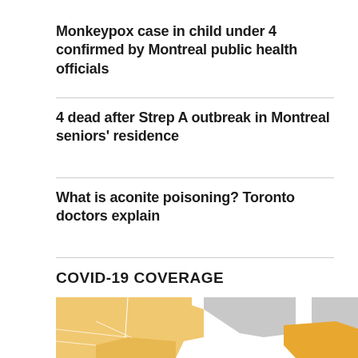Monkeypox case in child under 4 confirmed by Montreal public health officials
4 dead after Strep A outbreak in Montreal seniors' residence
What is aconite poisoning? Toronto doctors explain
COVID-19 COVERAGE
[Figure (map): Partial map of Canada showing provinces colored in orange/amber tones indicating COVID-19 coverage, with some regions in grey. Shows western Canada and part of eastern Canada.]